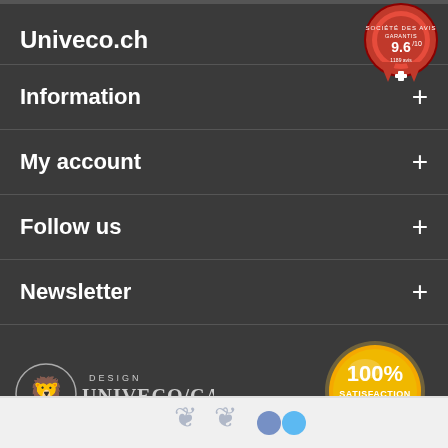[Figure (logo): Red circular badge: Société des Avis Garantis, 9.6/10, 1189 avis]
Univeco.ch
Information +
My account +
Follow us +
Newsletter +
[Figure (logo): Design Univeco/Casa Home & Decor logo with lion]
[Figure (logo): 100% Satisfaction gold badge with checkmark]